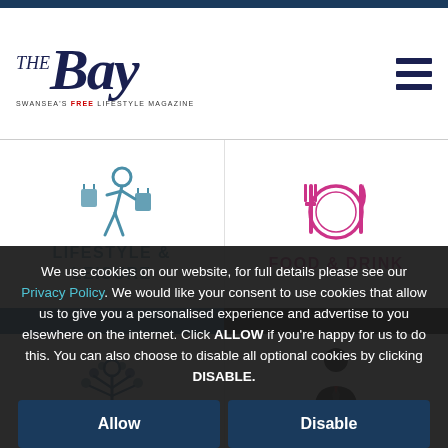[Figure (logo): The Bay magazine logo — stylized italic 'Bay' with 'THE' superscript, and tagline 'Swansea's FREE lifestyle magazine']
[Figure (illustration): Shopping person icon in teal/blue]
LIFESTYLE & LEISURE
[Figure (illustration): Fork, plate and knife icon in pink/magenta]
FOOD & DRINK
[Figure (illustration): Blue tree of life icon]
[Figure (illustration): Business person silhouette icon in black]
We use cookies on our website, for full details please see our Privacy Policy. We would like your consent to use cookies that allow us to give you a personalised experience and advertise to you elsewhere on the internet. Click ALLOW if you're happy for us to do this. You can also choose to disable all optional cookies by clicking DISABLE.
Allow
Disable